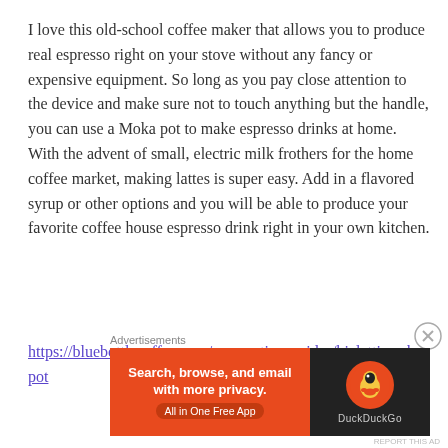I love this old-school coffee maker that allows you to produce real espresso right on your stove without any fancy or expensive equipment. So long as you pay close attention to the device and make sure not to touch anything but the handle, you can use a Moka pot to make espresso drinks at home. With the advent of small, electric milk frothers for the home coffee market, making lattes is super easy. Add in a flavored syrup or other options and you will be able to produce your favorite coffee house espresso drink right in your own kitchen.
https://bluebottlecoffee.com/preparation-guides/bialetti-moka-pot
[Figure (screenshot): DuckDuckGo advertisement banner: orange left panel with text 'Search, browse, and email with more privacy. All in One Free App' and dark right panel with DuckDuckGo duck logo and brand name.]